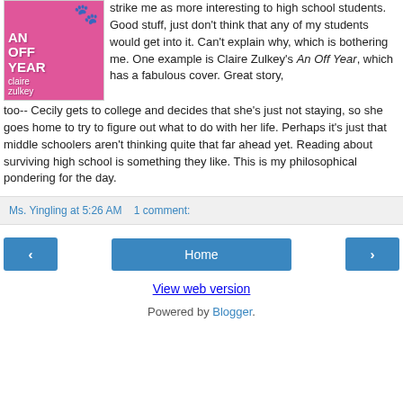[Figure (illustration): Book cover of 'An Off Year' by Claire Zulkey — pink fuzzy background with white text and paw print decoration]
strike me as more interesting to high school students. Good stuff, just don't think that any of my students would get into it. Can't explain why, which is bothering me. One example is Claire Zulkey's An Off Year, which has a fabulous cover. Great story, too-- Cecily gets to college and decides that she's just not staying, so she goes home to try to figure out what to do with her life. Perhaps it's just that middle schoolers aren't thinking quite that far ahead yet. Reading about surviving high school is something they like. This is my philosophical pondering for the day.
Ms. Yingling at 5:26 AM    1 comment:
‹
Home
›
View web version
Powered by Blogger.